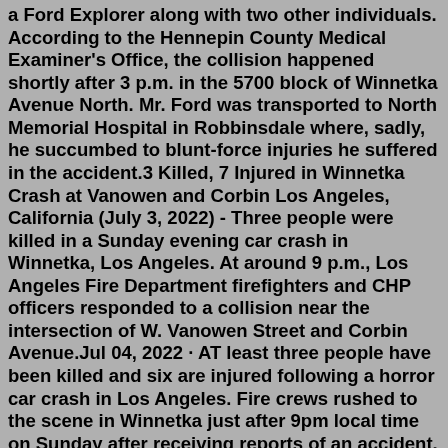a Ford Explorer along with two other individuals. According to the Hennepin County Medical Examiner's Office, the collision happened shortly after 3 p.m. in the 5700 block of Winnetka Avenue North. Mr. Ford was transported to North Memorial Hospital in Robbinsdale where, sadly, he succumbed to blunt-force injuries he suffered in the accident.3 Killed, 7 Injured in Winnetka Crash at Vanowen and Corbin Los Angeles, California (July 3, 2022) - Three people were killed in a Sunday evening car crash in Winnetka, Los Angeles. At around 9 p.m., Los Angeles Fire Department firefighters and CHP officers responded to a collision near the intersection of W. Vanowen Street and Corbin Avenue.Jul 04, 2022 · AT least three people have been killed and six are injured following a horror car crash in Los Angeles. Fire crews rushed to the scene in Winnetka just after 9pm local time on Sunday after receiving reports of an accident. 1 Three people have been killed in a horror smash in LA Credit: Fox11 Dec 13, 2021 · A three-car crash in Winnetka Monday night, Dec. 13.